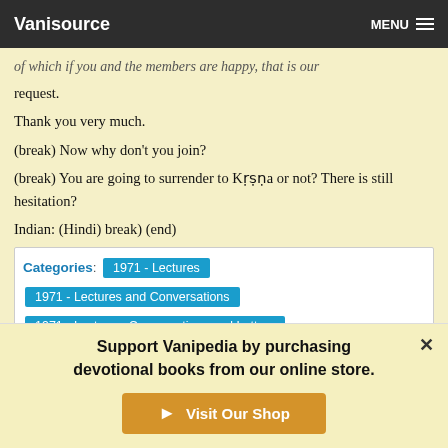Vanisource | MENU
...of which if you and the members are happy, that is our request.
Thank you very much.
(break) Now why don't you join?
(break) You are going to surrender to Kṛṣṇa or not? There is still hesitation?
Indian: (Hindi) break) (end)
Categories: 1971 - Lectures | 1971 - Lectures and Conversations | 1971 - Lectures, Conversations and Letters
Support Vanipedia by purchasing devotional books from our online store.
Visit Our Shop